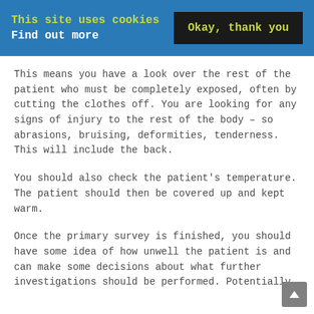This site uses cookies Find out more  Okay, thank you
This means you have a look over the rest of the patient who must be completely exposed, often by cutting the clothes off. You are looking for any signs of injury to the rest of the body – so abrasions, bruising, deformities, tenderness. This will include the back.
You should also check the patient's temperature. The patient should then be covered up and kept warm.
Once the primary survey is finished, you should have some idea of how unwell the patient is and can make some decisions about what further investigations should be performed. Potentially